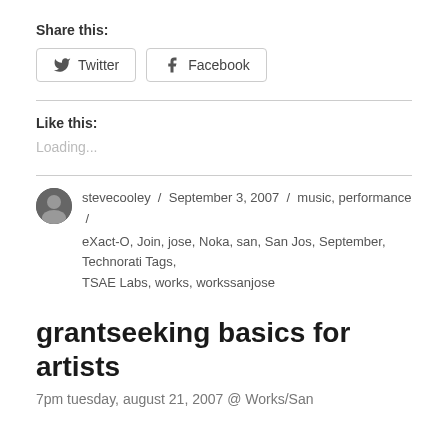Share this:
[Figure (other): Share buttons for Twitter and Facebook]
Like this:
Loading...
stevecooley / September 3, 2007 / music, performance / eXact-O, Join, jose, Noka, san, San Jos, September, Technorati Tags, TSAE Labs, works, workssanjose
grantseeking basics for artists
7pm tuesday, august 21, 2007 @ Works/San